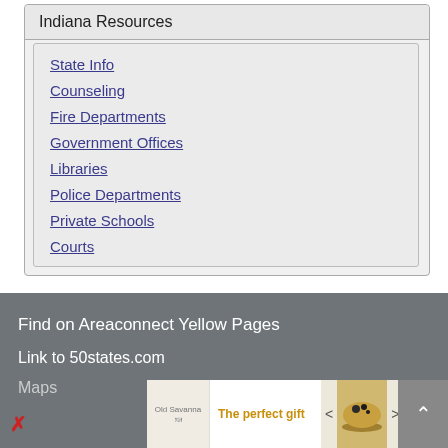Indiana Resources
State Info
Counseling
Fire Departments
Government Offices
Libraries
Police Departments
Private Schools
Courts
Find on Areaconnect Yellow Pages
Link to 50states.com
Maps
[Figure (other): Advertisement banner: The perfect gift, 35% OFF + FREE SHIPPING]